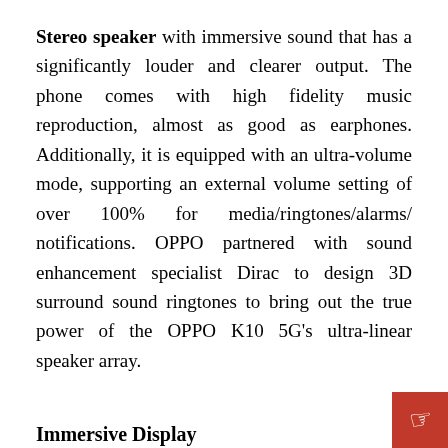Stereo speaker with immersive sound that has a significantly louder and clearer output. The phone comes with high fidelity music reproduction, almost as good as earphones. Additionally, it is equipped with an ultra-volume mode, supporting an external volume setting of over 100% for media/ringtones/alarms/notifications. OPPO partnered with sound enhancement specialist Dirac to design 3D surround sound ringtones to bring out the true power of the OPPO K10 5G's ultra-linear speaker array.
Immersive Display
The OPPO K10 5G has a 6.56'' HD+ 90Hz Color-Rich display with 100% DCI-P3 high colour gamut providing smoother images with accurate col...